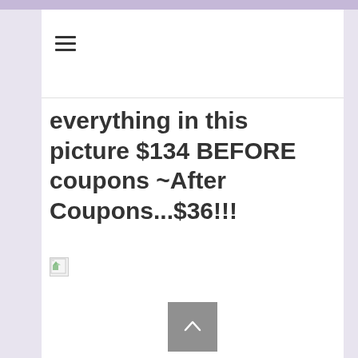everything in this picture $134 BEFORE coupons ~After Coupons...$36!!!
[Figure (photo): Broken image placeholder (image failed to load)]